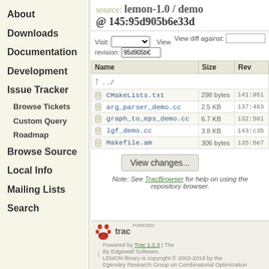source: lemon-1.0 / demo @ 145:95d905b6e33d
About
Downloads
Documentation
Development
Issue Tracker
Browse Tickets
Custom Query
Roadmap
Browse Source
Local Info
Mailing Lists
Search
| Name | Size | Rev |
| --- | --- | --- |
| ../ |  |  |
| CMakeLists.txt | 298 bytes | 141:961 |
| arg_parser_demo.cc | 2.5 KB | 137:483 |
| graph_to_eps_demo.cc | 6.7 KB | 132:501 |
| lgf_demo.cc | 3.8 KB | 143:c3b |
| Makefile.am | 306 bytes | 135:6e7 |
Note: See TracBrowser for help on using the repository browser.
Powered by Trac 1.2.3 By Edgewall Software. LEMON library is copyright © 2003-2018 by the Egerváry Research Group on Combinatorial Optimization